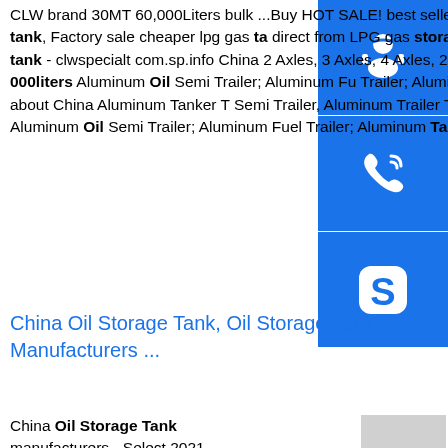CLW brand 30MT 60,000Liters bulk ...Buy HOT SALE! best seller CLW brand 30MT 60,000Liters bulk propane gas storage tank, Factory sale cheaper lpg gas ta... direct from LPG gas storage tank of China Factory... provide Latest LPG gas storage tank - clwspecialt... com.sp.info China 2 Axles, 3 Axles, 4 Axles, 20 000lii... 60 ...China 2 Axles, 3 Axles, 4 Axles, 20 000liiters - ... 000liters Aluminum Oil Semi Trailer; Aluminum Fu... Trailer; Aluminum Tank Semi Trailer; Aluminum Trailer Truck;, Find details about China Aluminum Tanker T... Semi Trailer, Aluminum Trailer Truck from 2 Axles, 4 Axles, 20 000liiters - 60 000liters Aluminum Oil Semi Trailer; Aluminum Fuel Trailer; Aluminum Tank Semi Trailer; Aluminum ...
[Figure (other): Blue sidebar with three icon buttons: headset/support icon, phone/call icon, and Skype icon]
China Oil Storage Tank, Oil Storage Tank Manufacturers ...
China Oil Storage Tank manufacturers - Select 2021